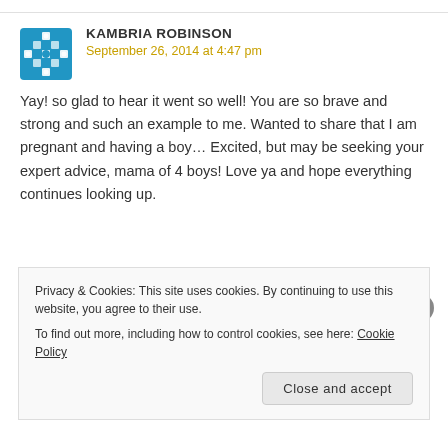KAMBRIA ROBINSON
September 26, 2014 at 4:47 pm
Yay! so glad to hear it went so well! You are so brave and strong and such an example to me. Wanted to share that I am pregnant and having a boy… Excited, but may be seeking your expert advice, mama of 4 boys! Love ya and hope everything continues looking up.
Privacy & Cookies: This site uses cookies. By continuing to use this website, you agree to their use. To find out more, including how to control cookies, see here: Cookie Policy Close and accept